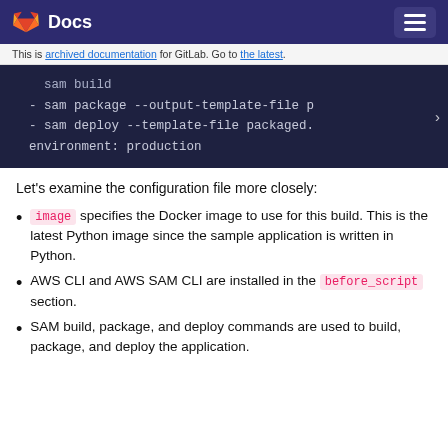Docs
This is archived documentation for GitLab. Go to the latest.
[Figure (screenshot): Dark-themed code block showing YAML CI configuration: sam build, sam package --output-template-file p..., sam deploy --template-file packaged., environment: production]
Let’s examine the configuration file more closely:
image specifies the Docker image to use for this build. This is the latest Python image since the sample application is written in Python.
AWS CLI and AWS SAM CLI are installed in the before_script section.
SAM build, package, and deploy commands are used to build, package, and deploy the application.